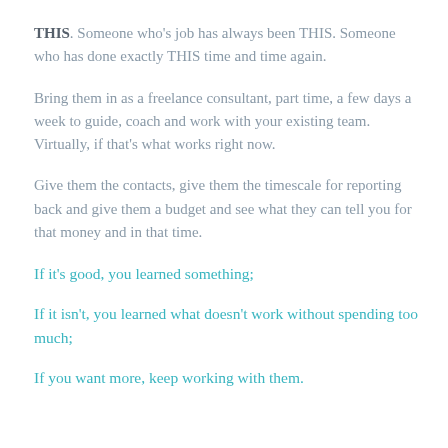THIS. Someone who's job has always been THIS. Someone who has done exactly THIS time and time again.
Bring them in as a freelance consultant, part time, a few days a week to guide, coach and work with your existing team. Virtually, if that's what works right now.
Give them the contacts, give them the timescale for reporting back and give them a budget and see what they can tell you for that money and in that time.
If it's good, you learned something;
If it isn't, you learned what doesn't work without spending too much;
If you want more, keep working with them.